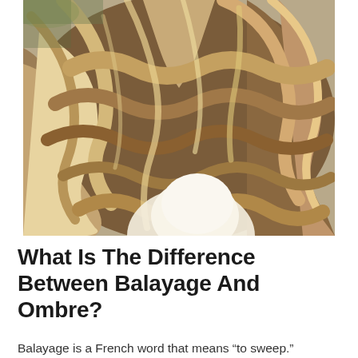[Figure (photo): Close-up photo of a woman with wavy, balayage-highlighted hair showing brown and blonde tones, wearing a white top, viewed from behind/side.]
What Is The Difference Between Balayage And Ombre?
Balayage is a French word that means “to sweep.”